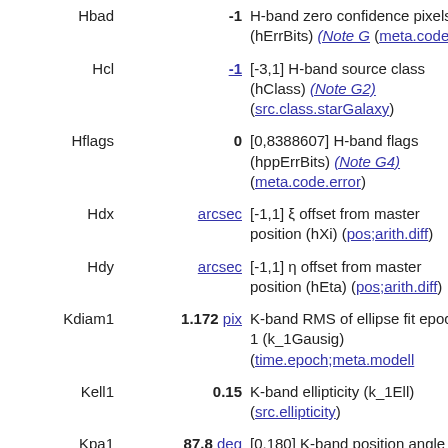| Name | Value | Description |
| --- | --- | --- |
| Hbad | -1 | H-band zero confidence pixels (hErrBits) (Note G) (meta.code) |
| Hcl | -1 | [-3,1] H-band source class (hClass) (Note G2) (src.class.starGalaxy) |
| Hflags | 0 | [0,8388607] H-band flags (hppErrBits) (Note G4) (meta.code.error) |
| Hdx | arcsec | [-1,1] ξ offset from master position (hXi) (pos;arith.diff) |
| Hdy | arcsec | [-1,1] η offset from master position (hEta) (pos;arith.diff) |
| Kdiam1 | 1.172 pix | K-band RMS of ellipse fit epoch 1 (k_1Gausig) (time.epoch;meta.modell) |
| Kell1 | 0.15 | K-band ellipticity (k_1Ell) (src.ellipticity) |
| Kpa1 | 87.8 deg | [0,180] K-band position angle (k_1PA) (pos.posAng) |
| Kbd1 | ? | K-band something fits |